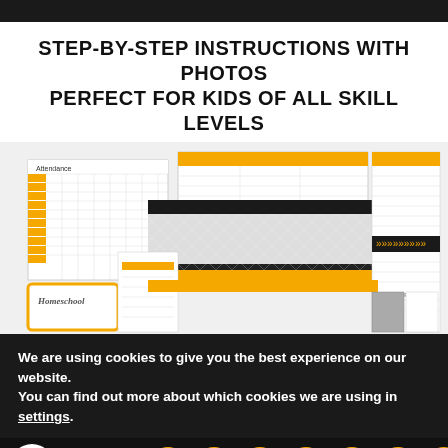STEP-BY-STEP INSTRUCTIONS WITH PHOTOS PERFECT FOR KIDS OF ALL SKILL LEVELS
[Figure (photo): Collection of homeschool printable worksheets and planners in yellow/black/white color scheme, including attendance sheets, schedule grids, calendars, and a 'Homeschool' cover page.]
We are using cookies to give you the best experience on our website.
You can find out more about which cookies we are using in settings.
37 Shares | Accept | Pinterest 37 | Facebook | Twitter | Google+ | WhatsApp | Email | Crown